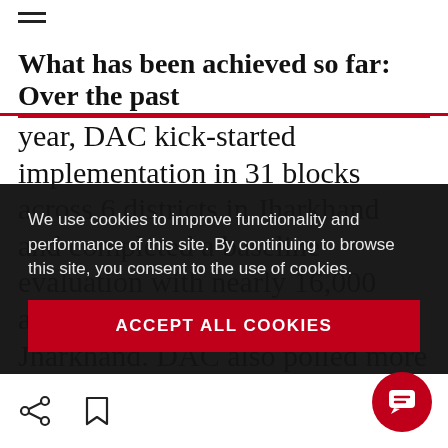≡ (hamburger menu icon)
What has been achieved so far: Over the past year, DAC kick-started implementation in 31 blocks across 6 districts in Jharkhand and completed a baseline evaluation with nearly 16,000 adolescents across 23 districts in Jharkhand. DAC also polled more than 10,000 adolescents across 7 states in India, in partnership with the Ministry of Health and
We use cookies to improve functionality and performance of this site. By continuing to browse this site, you consent to the use of cookies.
ACCEPT ALL COOKIES
(share icon) (bookmark icon) (chat button)